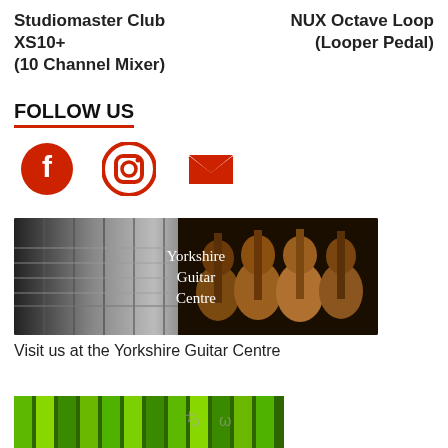Studiomaster Club XS10+ (10 Channel Mixer)
NUX Octave Loop (Looper Pedal)
FOLLOW US
[Figure (illustration): Red Facebook icon circle]
[Figure (illustration): Red Instagram icon circle]
[Figure (illustration): Red email envelope icon]
[Figure (photo): Yorkshire Guitar Centre banner image showing electric guitars on left (black and white) and acoustic guitars on right with text 'Yorkshire Guitar Centre' in center]
Visit us at the Yorkshire Guitar Centre
[Figure (photo): Partial image of green piano keys or keyboard with decorative scribble marks visible at bottom of page]